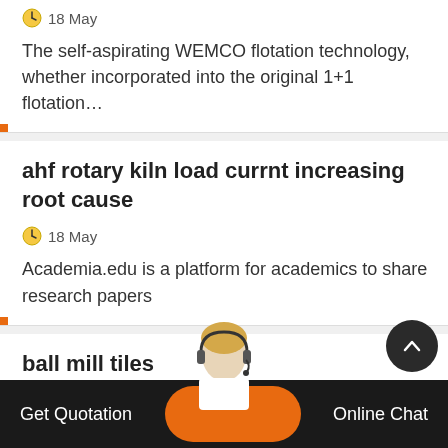The self-aspirating WEMCO flotation technology, whether incorporated into the original 1+1 flotation…
ahf rotary kiln load currnt increasing root cause
18 May
Academia.edu is a platform for academics to share research papers
ball mill tiles
Get Quotation | Online Chat